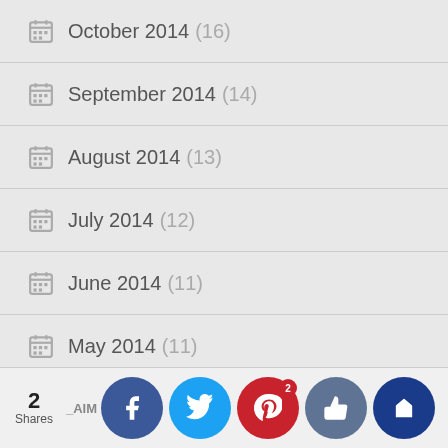October 2014 (16)
September 2014 (14)
August 2014 (13)
July 2014 (12)
June 2014 (11)
May 2014 (11)
April 2014 (16)
2 Shares | Facebook | Twitter | Pinterest (2) | Like | Crown